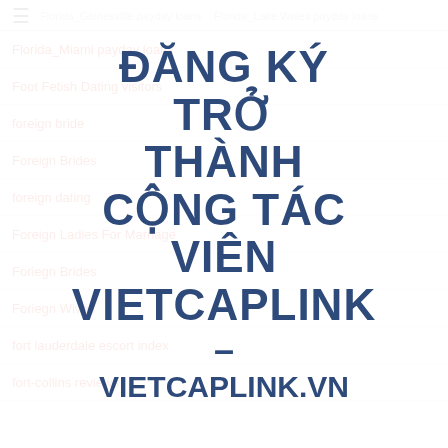Florida_Gainesville payday loans  Florida_Lake Wales payday loans
Florida_Miami payday loans
Foot Fetish Dating visitors
foreign bride
Foreign Brides
foreign dating
Foreign Ladies For Marriage
Foriegn Brides
Foriegn Wives
fort lauderdale escort index
fort-collins reviews
[Figure (infographic): Overlay popup with Vietnamese text: ĐĂNG KÝ TRỞ THÀNH CỘNG TÁC VIÊN VIETCAPLINK – VIETCAPLINK.VN in bold dark blue on semi-transparent white background]